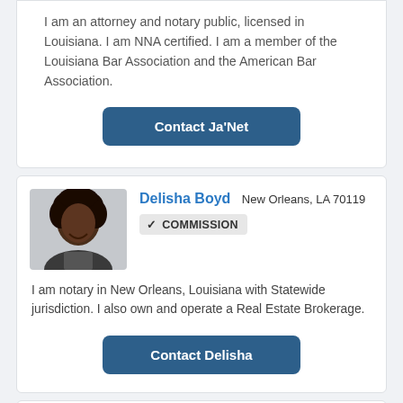I am an attorney and notary public, licensed in Louisiana. I am NNA certified. I am a member of the Louisiana Bar Association and the American Bar Association.
Contact Ja'Net
Delisha Boyd  New Orleans, LA 70119
✔ COMMISSION
[Figure (photo): Profile photo of Delisha Boyd, a woman with curly hair, smiling]
I am notary in New Orleans, Louisiana with Statewide jurisdiction. I also own and operate a Real Estate Brokerage.
Contact Delisha
[Figure (photo): Partial profile photo of Shalacia Leflore]
Shalacia Leflore  New Orleans, LA 70114